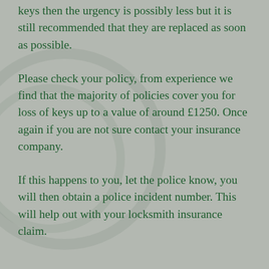keys then the urgency is possibly less but it is still recommended that they are replaced as soon as possible.
Please check your policy, from experience we find that the majority of policies cover you for loss of keys up to a value of around £1250. Once again if you are not sure contact your insurance company.
If this happens to you, let the police know, you will then obtain a police incident number. This will help out with your locksmith insurance claim.
Following an emergency